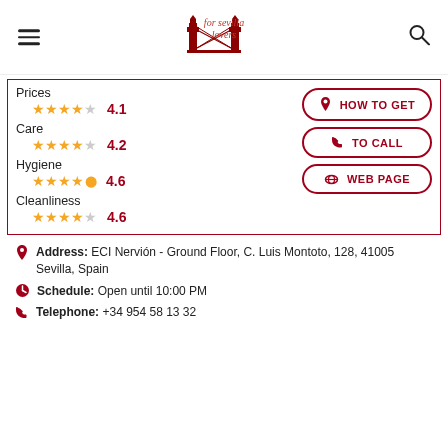for sevilla lovers
Prices 4.1
Care 4.2
Hygiene 4.6
Cleanliness 4.6
HOW TO GET
TO CALL
WEB PAGE
Address: ECI Nervión - Ground Floor, C. Luis Montoto, 128, 41005 Sevilla, Spain
Schedule: Open until 10:00 PM
Telephone: +34 954 58 13 32